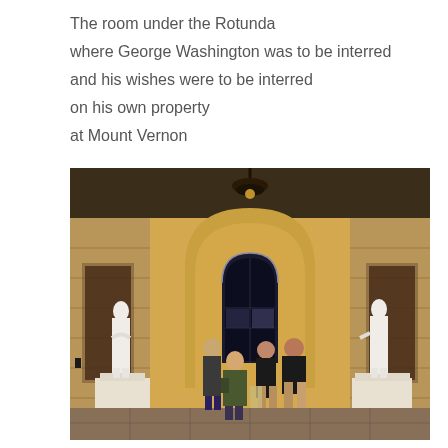The room under the Rotunda
where George Washington was to be interred
and his wishes were to be interred
on his own property
at Mount Vernon
[Figure (photo): Interior photograph of the room under the US Capitol Rotunda. The space has warm yellow walls with arched alcoves, stone pilasters, and a stone tile floor. A large arched window is visible at center rear. A dark chandelier hangs from the ceiling. Two white marble statues stand on pedestals on the left and right sides. Several visitors — about four people — stand in the center of the room looking at something on a stand or table.]